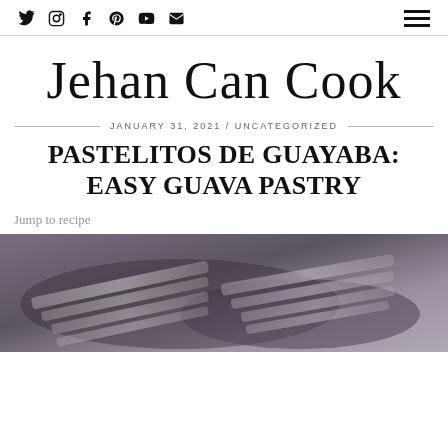Social icons (Twitter, Instagram, Facebook, Pinterest, YouTube, Email) | Hamburger menu
Jehan Can Cook
JANUARY 31, 2021 / UNCATEGORIZED
PASTELITOS DE GUAYABA: EASY GUAVA PASTRY
Jump to recipe
[Figure (photo): Close-up photo of pastelitos de guayaba (guava pastries) with a blurred dark background showing flaky layered pastry texture]